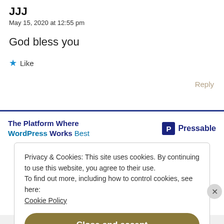May 15, 2020 at 12:55 pm
God bless you
★ Like
Reply
[Figure (screenshot): Pressable advertisement banner: 'The Platform Where WordPress Works Best' with Pressable logo]
Privacy & Cookies: This site uses cookies. By continuing to use this website, you agree to their use.
To find out more, including how to control cookies, see here:
Cookie Policy
Close and accept